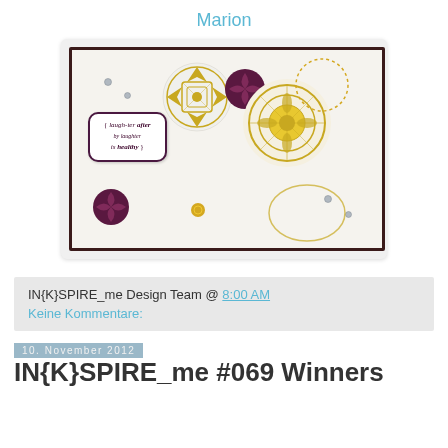Marion
[Figure (photo): Handmade greeting card with circular decorative stamped patterns in yellow/gold and dark purple/brown on a white background. Features a label box with the text 'laugh-ter after by laughter is healthy' and various decorative circle motifs including mandala-like patterns, rhinestones, and swirls.]
IN{K}SPIRE_me Design Team @ 8:00 AM
Keine Kommentare:
10. November 2012
IN{K}SPIRE_me #069 Winners